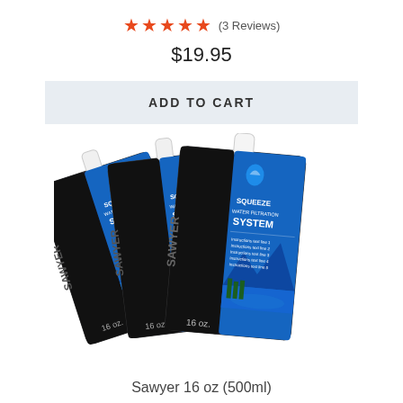★★★★★ (3 Reviews)
$19.95
ADD TO CART
[Figure (photo): Three Sawyer 16 oz (500ml) squeeze water filtration system pouches arranged in a fan pattern, showing blue and black packaging with mountains and lake scene, white caps on top, labeled 16 oz.]
Sawyer 16 oz (500ml)